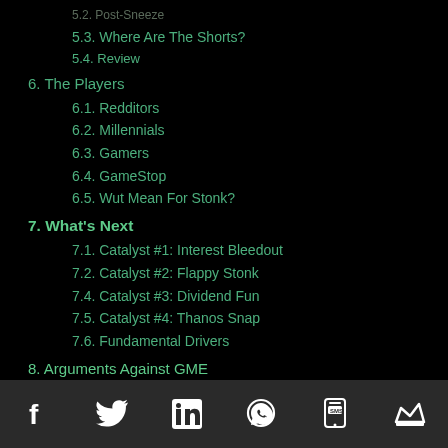5.2. Post-Sneeze
5.3. Where Are The Shorts?
5.4. Review
6. The Players
6.1. Redditors
6.2. Millennials
6.3. Gamers
6.4. GameStop
6.5. Wut Mean For Stonk?
7. What's Next
7.1. Catalyst #1: Interest Bleedout
7.2. Catalyst #2: Flappy Stonk
7.4. Catalyst #3: Dividend Fun
7.5. Catalyst #4: Thanos Snap
7.6. Fundamental Drivers
8. Arguments Against GME
Social media share icons: Facebook, Twitter, LinkedIn, WhatsApp, SMS, Crown